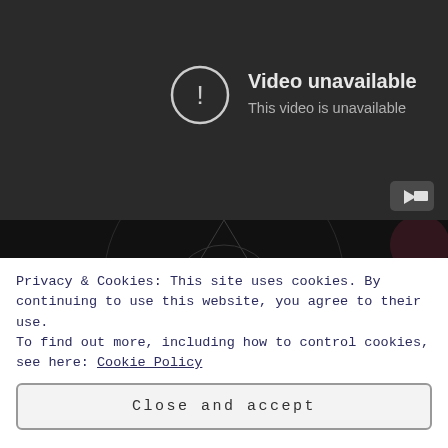[Figure (screenshot): YouTube video player showing 'Video unavailable' error message with exclamation mark icon in a circle. Dark gray background. YouTube play button icon at bottom right.]
[Figure (screenshot): YouTube video thumbnail/channel bar showing dark background with occult geometric star diagram, channel avatar (round), channel title 'Hawthonn - Carles Waen / Vulva ...' in white text, and three-dot menu icon.]
Privacy & Cookies: This site uses cookies. By continuing to use this website, you agree to their use.
To find out more, including how to control cookies, see here: Cookie Policy
Close and accept